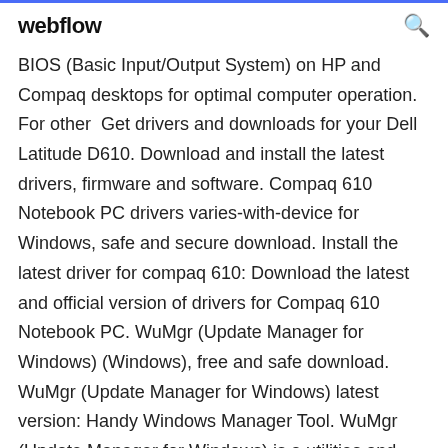webflow
BIOS (Basic Input/Output System) on HP and Compaq desktops for optimal computer operation. For other  Get drivers and downloads for your Dell Latitude D610. Download and install the latest drivers, firmware and software. Compaq 610 Notebook PC drivers varies-with-device for Windows, safe and secure download. Install the latest driver for compaq 610: Download the latest and official version of drivers for Compaq 610 Notebook PC. WuMgr (Update Manager for Windows) (Windows), free and safe download. WuMgr (Update Manager for Windows) latest version: Handy Windows Manager Tool. WuMgr (Update Manager for Windows) is a utilities and